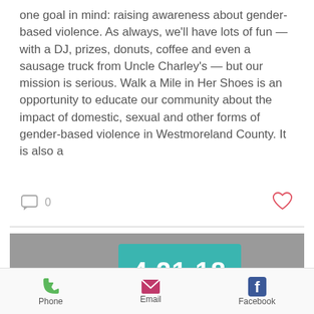one goal in mind: raising awareness about gender-based violence. As always, we'll have lots of fun — with a DJ, prizes, donuts, coffee and even a sausage truck from Uncle Charley's — but our mission is serious. Walk a Mile in Her Shoes is an opportunity to educate our community about the impact of domestic, sexual and other forms of gender-based violence in Westmoreland County. It is also a
[Figure (screenshot): Comment icon with count '0' on the left, heart/like icon on the right]
[Figure (photo): Event promotional image showing a person walking in red high heels on pavement, with a teal overlay box showing '4.21.18' and 'OFFUTT FIELD']
[Figure (infographic): Bottom navigation bar with Phone (green phone icon), Email (magenta envelope icon), and Facebook (blue Facebook icon) options]